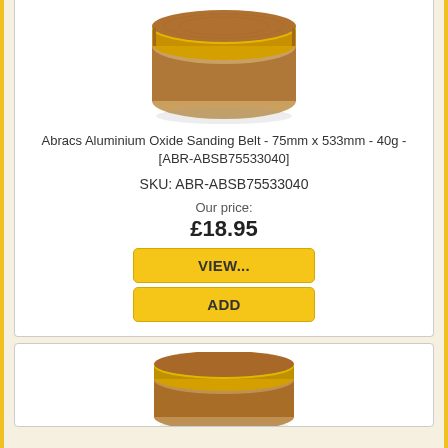[Figure (photo): Abracs aluminium oxide sanding belt, brown/tan colored abrasive belt stacked, viewed from the side]
Abracs Aluminium Oxide Sanding Belt - 75mm x 533mm - 40g - [ABR-ABSB75533040]
SKU: ABR-ABSB75533040
Our price: £18.95
VIEW...
ADD
[Figure (photo): Second abracs aluminium oxide sanding belt, brown/tan colored abrasive belt, viewed from the side at bottom of page]